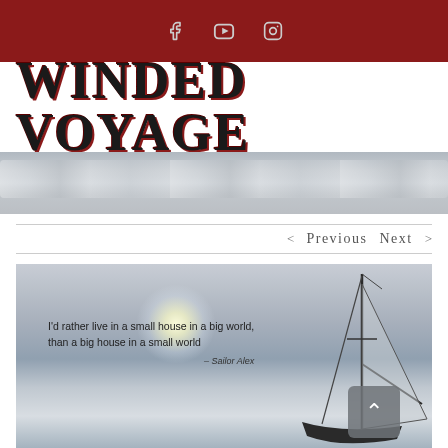Social media icons: Facebook, YouTube, Instagram
WINDED VOYAGE
[Figure (photo): Hero banner strip showing overcast sky with clouds in grey tones]
< Previous   Next >
[Figure (photo): Sailboat photo with quote: I'd rather live in a small house in a big world, than a big house in a small world. – Sailor Alex]